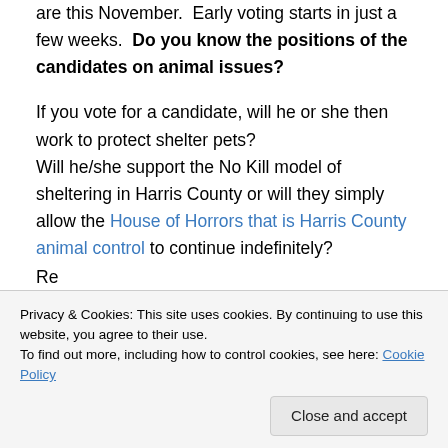are this November.  Early voting starts in just a few weeks.  Do you know the positions of the candidates on animal issues?
If you vote for a candidate, will he or she then work to protect shelter pets?
Will he/she support the No Kill model of sheltering in Harris County or will they simply allow the House of Horrors that is Harris County animal control to continue indefinitely?
[partial line cut off]
Privacy & Cookies: This site uses cookies. By continuing to use this website, you agree to their use.
To find out more, including how to control cookies, see here: Cookie Policy
Close and accept